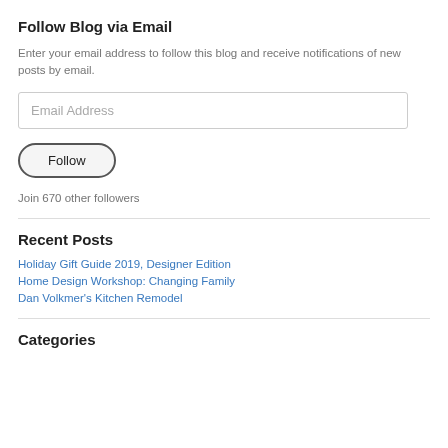Follow Blog via Email
Enter your email address to follow this blog and receive notifications of new posts by email.
Email Address
Follow
Join 670 other followers
Recent Posts
Holiday Gift Guide 2019, Designer Edition
Home Design Workshop: Changing Family
Dan Volkmer's Kitchen Remodel
Categories